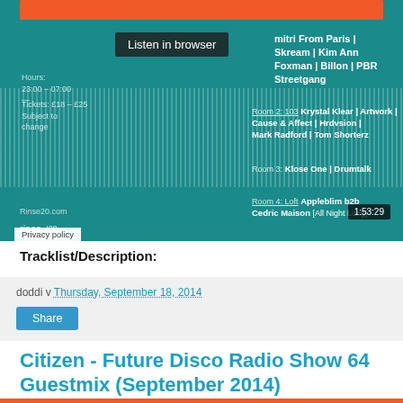[Figure (screenshot): SoundCloud-style audio player embedded in a webpage showing a Rinse FM event with teal/dark background, waveform visualization, 'Listen in browser' button, event lineup text listing DJs including Dmitri From Paris, Skream, Kim Ann Foxman, Billon, PBR Streetgang, Krystal Klear, Artwork, Cause & Affect, Hrdvsion, Mark Radford, Tom Shorterz, Klose One, Drumtalk, Appleblim b2b Cedric Maison (All Night Long), timestamp 1:53:29, and Privacy policy badge]
Tracklist/Description:
doddi v Thursday, September 18, 2014
Share
Citizen - Future Disco Radio Show 64 Guestmix (September 2014)